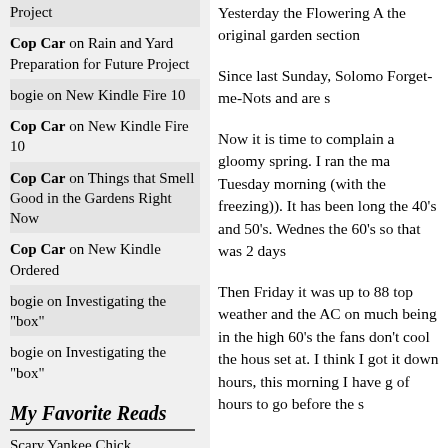Project
Cop Car on Rain and Yard Preparation for Future Project
bogie on New Kindle Fire 10
Cop Car on New Kindle Fire 10
Cop Car on Things that Smell Good in the Gardens Right Now
Cop Car on New Kindle Ordered
bogie on Investigating the "box"
bogie on Investigating the "box"
My Favorite Reads
Scary Yankee Chick
Yesterday the Flowering A the original garden section
Since last Sunday, Solomo Forget-me-Nots and are s
Now it is time to complain a gloomy spring. I ran the ma Tuesday morning (with the freezing)). It has been long the 40's and 50's. Wednes the 60's so that was 2 days
Then Friday it was up to 88 top weather and the AC on much being in the high 60's the fans don't cool the hous set at. I think I got it down hours, this morning I have g of hours to go before the s